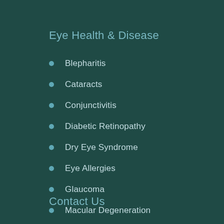Eye Health & Disease
Blepharitis
Cataracts
Conjunctivitis
Diabetic Retinopathy
Dry Eye Syndrome
Eye Allergies
Glaucoma
Macular Degeneration
Retinal Tears and Detachments
Vision Therapy
Contact Us